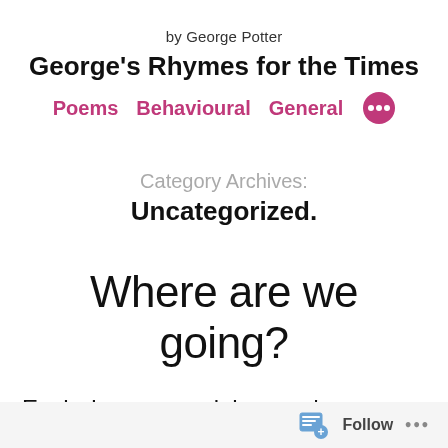by George Potter
George's Rhymes for the Times
Poems  Behavioural  General  •••
Category Archives: Uncategorized.
Where are we going?
Each day, we read, how we're, so smart
Follow  •••